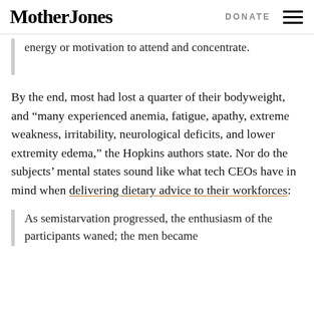Mother Jones | DONATE
energy or motivation to attend and concentrate.
By the end, most had lost a quarter of their bodyweight, and “many experienced anemia, fatigue, apathy, extreme weakness, irritability, neurological deficits, and lower extremity edema,” the Hopkins authors state. Nor do the subjects’ mental states sound like what tech CEOs have in mind when delivering dietary advice to their workforces:
As semistarvation progressed, the enthusiasm of the participants waned; the men became